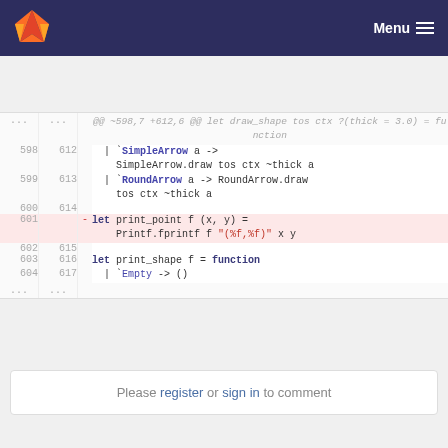GitLab logo / Menu
[Figure (screenshot): Code diff view showing OCaml source lines 598-604 (old) and 612-617 (new), with line 601 removed (print_point function), and lines 603-604/616-617 showing print_shape function.]
Please register or sign in to comment